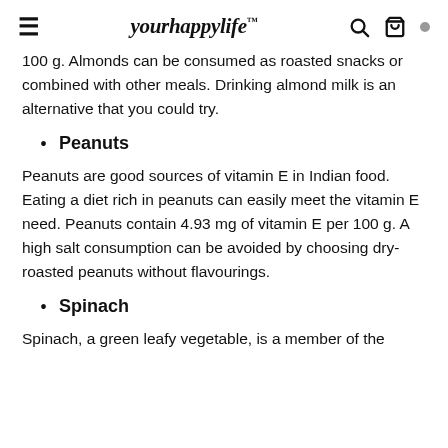yourhappylife™
100 g. Almonds can be consumed as roasted snacks or combined with other meals. Drinking almond milk is an alternative that you could try.
Peanuts
Peanuts are good sources of vitamin E in Indian food. Eating a diet rich in peanuts can easily meet the vitamin E need. Peanuts contain 4.93 mg of vitamin E per 100 g. A high salt consumption can be avoided by choosing dry-roasted peanuts without flavourings.
Spinach
Spinach, a green leafy vegetable, is a member of the